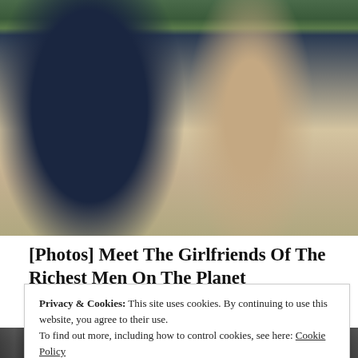[Figure (photo): Two people sitting in stadium seating. On the left, an older man wearing sunglasses and a dark navy suit with a light tie. On the right, a younger woman with long brown hair wearing sunglasses and a beige lace top with a pink floral accessory. Green stadium seats visible in background.]
[Photos] Meet The Girlfriends Of The Richest Men On The Planet
Bon Voyaged
Privacy & Cookies: This site uses cookies. By continuing to use this website, you agree to their use.
To find out more, including how to control cookies, see here: Cookie Policy
Close and accept
[Figure (photo): Partial view of a dark image at the bottom of the page, appears to be another photo partially visible.]